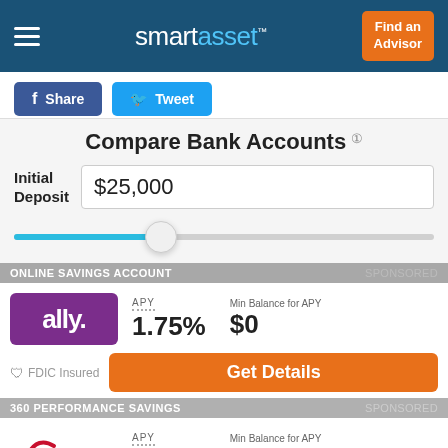smartasset — Find an Advisor
Share  Tweet
Compare Bank Accounts
Initial Deposit $25,000
ONLINE SAVINGS ACCOUNT  SPONSORED
|  | APY | Min Balance for APY |
| --- | --- | --- |
| ally | 1.75% | $0 |
| Capital One | 1.70% | $0 |
FDIC Insured  Get Details
360 PERFORMANCE SAVINGS  SPONSORED